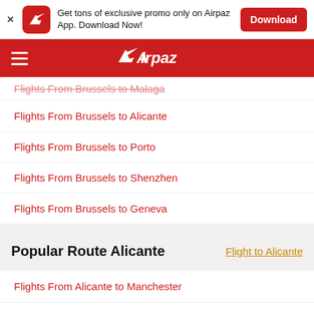Get tons of exclusive promo only on Airpaz App. Download Now!
Airpaz navigation bar
Flights From Brussels to Malaga
Flights From Brussels to Alicante
Flights From Brussels to Porto
Flights From Brussels to Shenzhen
Flights From Brussels to Geneva
Popular Route Alicante
Flight to Alicante
Flights From Alicante to Manchester
Flights From Alicante to London
Flights From Alicante to Amsterdam